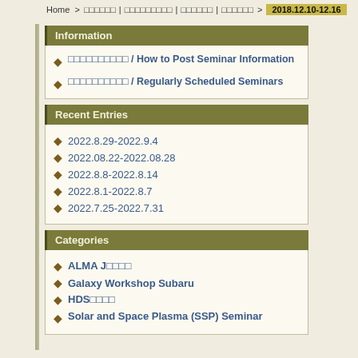Home > □□□□□□ | □□□□□□□□□ | □□□□□□ | □□□□□□ > 2018.12.10-12.16
Information
□□□□□□□□□□ / How to Post Seminar Information
□□□□□□□□□□ / Regularly Scheduled Seminars
Recent Entries
2022.8.29-2022.9.4
2022.08.22-2022.08.28
2022.8.8-2022.8.14
2022.8.1-2022.8.7
2022.7.25-2022.7.31
Categories
ALMA J□□□□
Galaxy Workshop Subaru
HDS□□□□
Solar and Space Plasma (SSP) Seminar